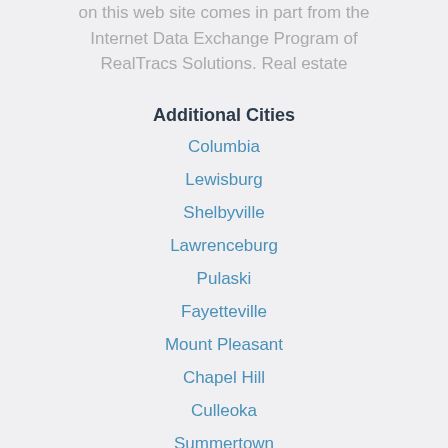on this web site comes in part from the Internet Data Exchange Program of RealTracs Solutions. Real estate
Additional Cities
Columbia
Lewisburg
Shelbyville
Lawrenceburg
Pulaski
Fayetteville
Mount Pleasant
Chapel Hill
Culleoka
Summertown
Additional Zip Codes